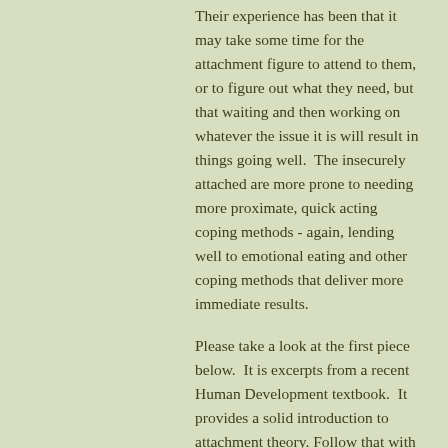Their experience has been that it may take some time for the attachment figure to attend to them, or to figure out what they need, but that waiting and then working on whatever the issue it is will result in things going well.  The insecurely attached are more prone to needing more proximate, quick acting coping methods - again, lending well to emotional eating and other coping methods that deliver more immediate results.
Please take a look at the first piece below.  It is excerpts from a recent Human Development textbook.  It provides a solid introduction to attachment theory. Follow that with Jude Cassidy's article on Intimacy and Attachment and then any of the